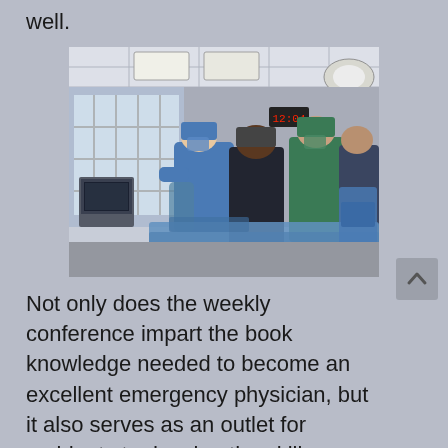well.
[Figure (photo): Medical professionals in an operating or procedure room. Several people in surgical gowns, masks, and scrubs are gathered around a procedure table. A patient appears to be on the table. Medical equipment and monitors are visible in the background. Large windows with grid panes are visible on the left.]
Not only does the weekly conference impart the book knowledge needed to become an excellent emergency physician, but it also serves as an outlet for residents to develop the skills necessary to become educators in the field. In keeping with our concept of graduated responsibility in the clinical realm, residents have a graduated level of responsibility as it pertains to helping